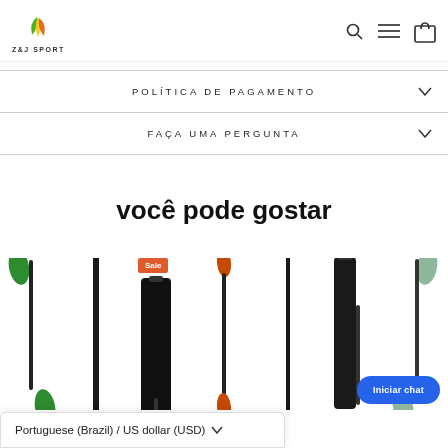Z&J SPORT
POLÍTICA DE PAGAMENTO
FAÇA UMA PERGUNTA
você pode gostar
[Figure (photo): Row of kayak paddles and equipment products, one with an orange Sale badge overlay]
Iniciar chat
Portuguese (Brazil) / US dollar (USD)